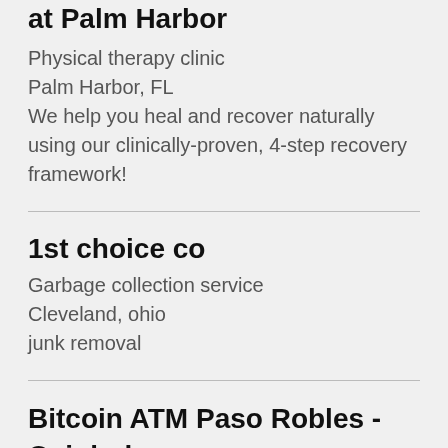at Palm Harbor
Physical therapy clinic
Palm Harbor, FL
We help you heal and recover naturally using our clinically-proven, 4-step recovery framework!
1st choice co
Garbage collection service
Cleveland, ohio
junk removal
Bitcoin ATM Paso Robles - Coinhub